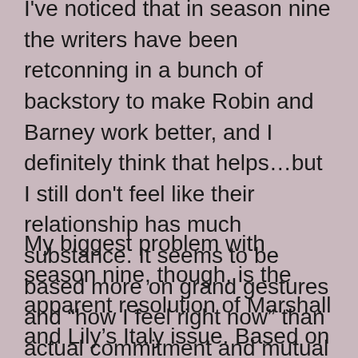I've noticed that in season nine the writers have been retconning in a bunch of backstory to make Robin and Barney work better, and I definitely think that helps…but I still don't feel like their relationship has much substance. It seems to be based more on grand gestures and “how I feel right now” than actual commitment and mutual respect.
My biggest problem with season nine, though, is the apparent resolution of Marshall and Lily’s Italy issue. Based on the episode in which Marshall has a discussion with versions of Lily